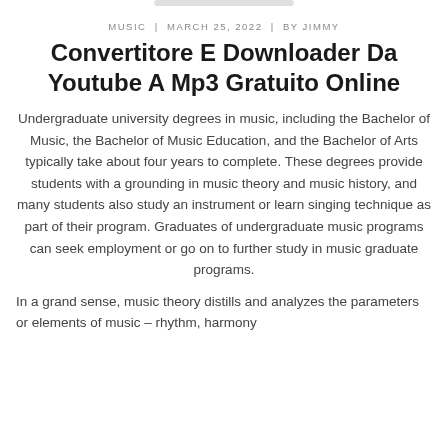MUSIC  |  MARCH 25, 2022  |  BY JIMMY
Convertitore E Downloader Da Youtube A Mp3 Gratuito Online
Undergraduate university degrees in music, including the Bachelor of Music, the Bachelor of Music Education, and the Bachelor of Arts typically take about four years to complete. These degrees provide students with a grounding in music theory and music history, and many students also study an instrument or learn singing technique as part of their program. Graduates of undergraduate music programs can seek employment or go on to further study in music graduate programs.
In a grand sense, music theory distills and analyzes the parameters or elements of music – rhythm, harmony